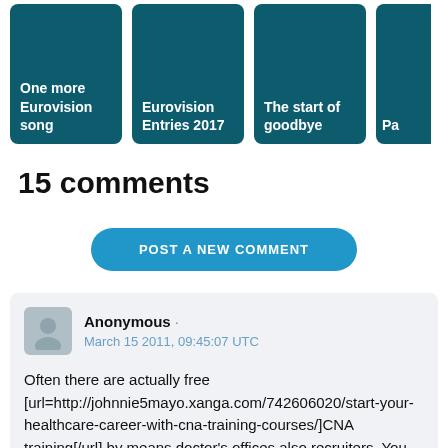[Figure (screenshot): Row of teal/dark blue cards: 'One more Eurovision song', 'Eurovision Entries 2017', 'The start of goodbye', and a partially visible card starting with 'Pa']
15 comments
POST A NEW COMMENT
Anonymous · March 15 2011, 09:45:07 UTC
Often there are actually free [url=http://johnnie5mayo.xanga.com/742606020/start-your-healthcare-career-with-cna-training-courses/]CNA training[/url] by means doctor's offices also recruiters. You